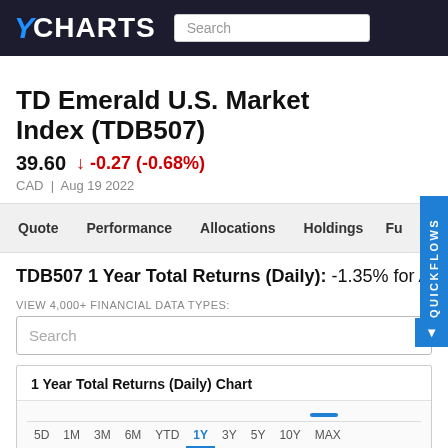YCHARTS
TD Emerald U.S. Market Index (TDB507)
39.60  ↓ -0.27 (-0.68%)
CAD  |  Aug 19 2022
Quote   Performance   Allocations   Holdings   Fu...
TDB507 1 Year Total Returns (Daily):  -1.35% for Aug. 1...
VIEW 4,000+ FINANCIAL DATA TYPES:
Search
1 Year Total Returns (Daily) Chart
5D   1M   3M   6M   YTD   1Y   3Y   5Y   10Y   MAX